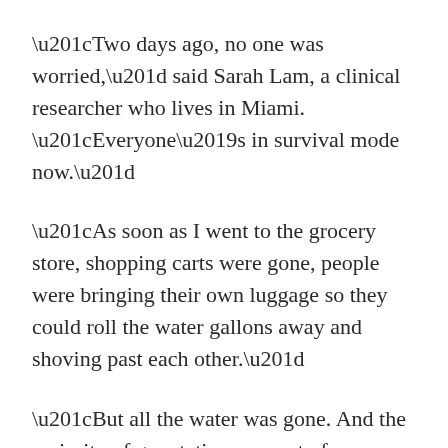“Two days ago, no one was worried,” said Sarah Lam, a clinical researcher who lives in Miami. “Everyone’s in survival mode now.”
“As soon as I went to the grocery store, shopping carts were gone, people were bringing their own luggage so they could roll the water gallons away and shoving past each other.”
“But all the water was gone. And the majority of gas stations are out of gas,” she added.
The entire state of Florida is under a declaration of emergency. No evacuations were ordered as of early Friday, but many are expected as the storm’s path becomes clearer. If Dorian hits Florida, it would be the fourth hurricane to do so since 2016, after Hermine in